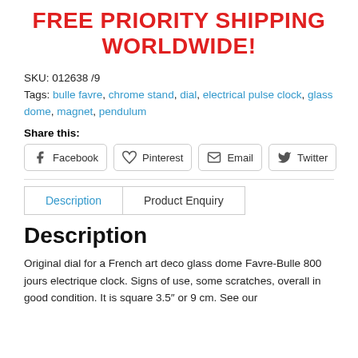FREE PRIORITY SHIPPING WORLDWIDE!
SKU: 012638 /9
Tags: bulle favre, chrome stand, dial, electrical pulse clock, glass dome, magnet, pendulum
Share this:
Facebook  Pinterest  Email  Twitter
Description  |  Product Enquiry
Description
Original dial for a French art deco glass dome Favre-Bulle 800 jours electrique clock. Signs of use, some scratches, overall in good condition. It is square 3.5″ or 9 cm. See our